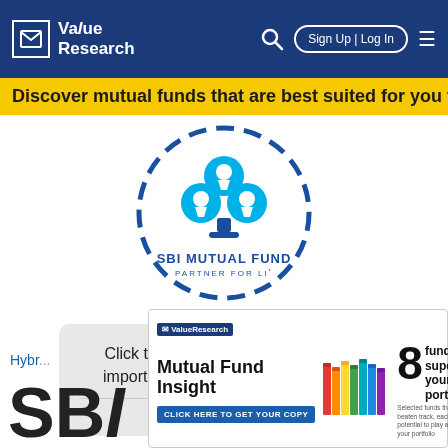Value Research — Sign Up | Log In
Discover mutual funds that are best suited for you thro...
[Figure (logo): SBI Mutual Fund logo — circular dashed border with SBI bank logo (three circles with flower/keyhole motif in blue), text 'SBI MUTUAL FUND' and 'PARTNER FOR LI*']
Click to see a quick summary and important updates about this fund!
Dismiss
Hybr...
[Figure (infographic): Value Research advertisement — Mutual Fund Insight magazine ad: '8 funds to supercharge your portfolio', colorful books in center, 'CLICK HERE TO GET YOUR COPY' button]
SBI...nd